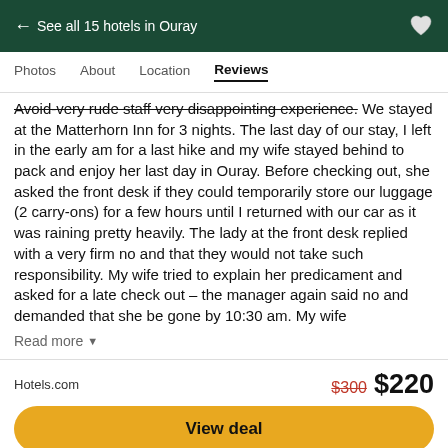← See all 15 hotels in Ouray
Photos  About  Location  Reviews
Avoid-very rude staff very disappointing experience. We stayed at the Matterhorn Inn for 3 nights. The last day of our stay, I left in the early am for a last hike and my wife stayed behind to pack and enjoy her last day in Ouray. Before checking out, she asked the front desk if they could temporarily store our luggage (2 carry-ons) for a few hours until I returned with our car as it was raining pretty heavily. The lady at the front desk replied with a very firm no and that they would not take such responsibility. My wife tried to explain her predicament and asked for a late check out – the manager again said no and demanded that she be gone by 10:30 am. My wife
Read more
Hotels.com   $300  $220
View deal